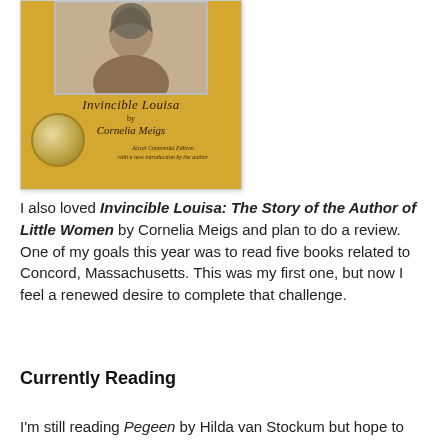[Figure (photo): Book cover of 'Invincible Louisa' by Cornelia Meigs on a yellow background, with a portrait photograph at top and a Newbery Medal on lower left. Text reads 'Invincible Louisa', 'Cornelia Meigs', 'Alcott Centennial Edition with a new introduction by the author'.]
I also loved Invincible Louisa: The Story of the Author of Little Women by Cornelia Meigs and plan to do a review. One of my goals this year was to read five books related to Concord, Massachusetts. This was my first one, but now I feel a renewed desire to complete that challenge.
Currently Reading
I'm still reading Pegeen by Hilda van Stockum but hope to